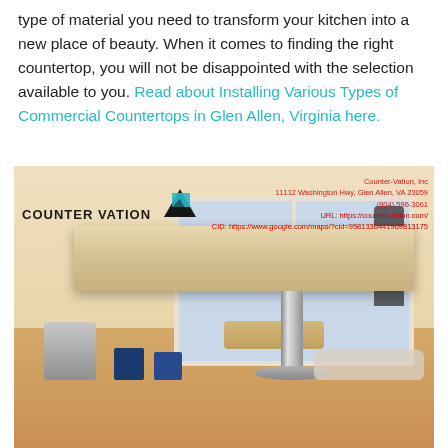type of material you need to transform your kitchen into a new place of beauty. When it comes to finding the right countertop, you will not be disappointed with the selection available to you. Read about Installing Various Types of Commercial Countertops in Glen Allen, Virginia here.
[Figure (photo): Photo of a kitchen countertop on a chrome pedestal base in a room under renovation. Counter-Vation Inc logo visible top-left with business info overlay top-right. Paint buckets and cans on the hardwood floor, drop cloths, window in background.]